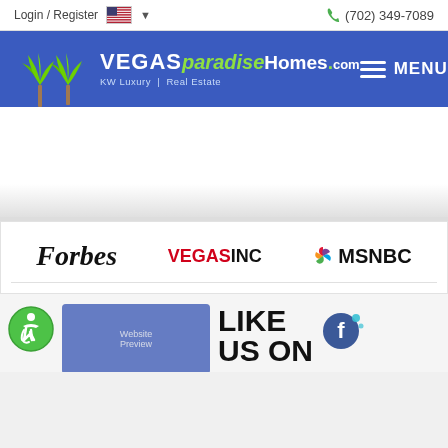Login / Register | (702) 349-7089
[Figure (logo): VEGASparadiseHomes.com KW Luxury Real Estate logo with palm trees on blue background]
[Figure (infographic): Media logos: Forbes, VEGASINC, MSNBC]
[Figure (screenshot): Device mockup showing website on laptop and phone, Like Us On Facebook section with accessibility icon]